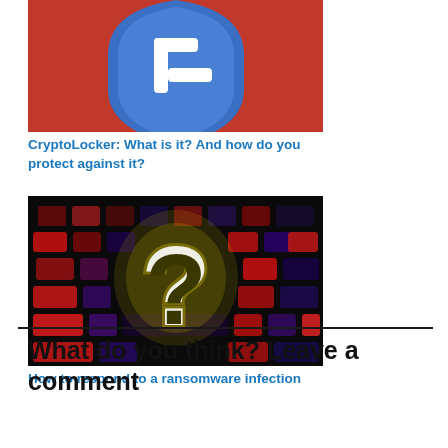[Figure (photo): Blue shield with white cross/checkmark symbol on a red background — cybersecurity icon representing protection]
CryptoLocker: What is it? And how do you protect against it?
[Figure (photo): Glowing yellow-green question mark on a dark keyboard with red-lit keys — representing unknown or uncertainty in cybersecurity context]
How to respond to a ransomware infection
What do you think? Leave a comment